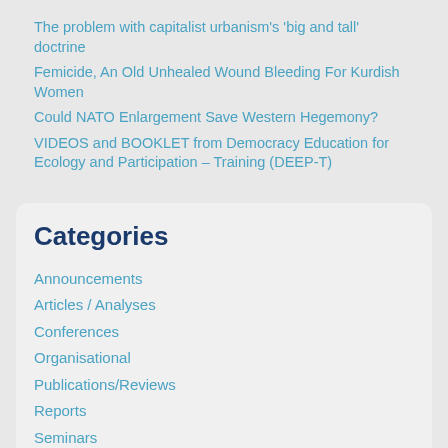The problem with capitalist urbanism's 'big and tall' doctrine
Femicide, An Old Unhealed Wound Bleeding For Kurdish Women
Could NATO Enlargement Save Western Hegemony?
VIDEOS and BOOKLET from Democracy Education for Ecology and Participation – Training (DEEP-T)
Categories
Announcements
Articles / Analyses
Conferences
Organisational
Publications/Reviews
Reports
Seminars
Uncategorized
Video